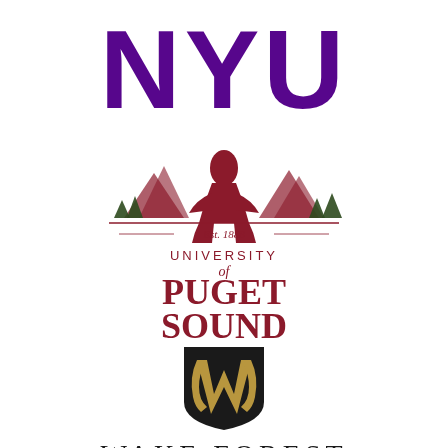[Figure (logo): NYU logo in large bold purple letters]
[Figure (logo): University of Puget Sound logo with mountain/figure illustration, Est. 1888, and dark red text]
[Figure (logo): Wake Forest University logo with black and gold shield emblem and serif text WAKE FOREST]